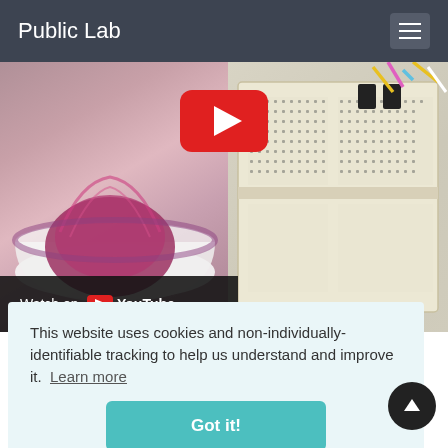Public Lab
[Figure (screenshot): YouTube video thumbnail showing a bowl with red onion on the left and a breadboard with electronic components on the right. A YouTube play button is visible in the upper center. A 'Watch on YouTube' bar is at the bottom left.]
DONE! Start testing water
This website uses cookies and non-individually-identifiable tracking to help us understand and improve it. Learn more
Got it!
PROBE